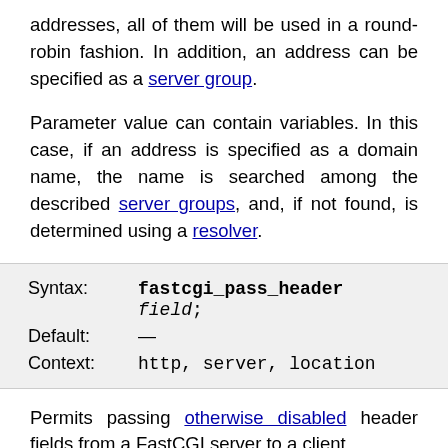addresses, all of them will be used in a round-robin fashion. In addition, an address can be specified as a server group.
Parameter value can contain variables. In this case, if an address is specified as a domain name, the name is searched among the described server groups, and, if not found, is determined using a resolver.
| Field | Value |
| --- | --- |
| Syntax: | fastcgi_pass_header field; |
| Default: | — |
| Context: | http, server, location |
Permits passing otherwise disabled header fields from a FastCGI server to a client.